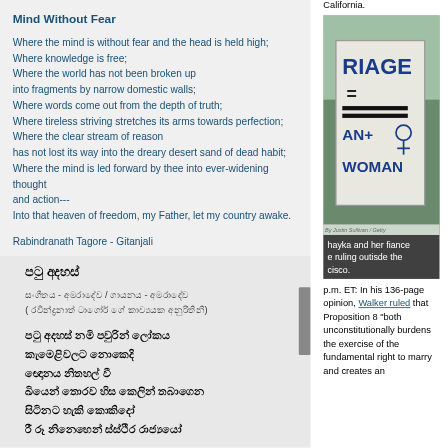Mind Without Fear
Where the mind is without fear and the head is held high;
Where knowledge is free;
Where the world has not been broken up
into fragments by narrow domestic walls;
Where words come out from the depth of truth;
Where tireless striving stretches its arms towards perfection;
Where the clear stream of reason
has not lost its way into the dreary desert sand of dead habit;
Where the mind is led forward by thee into ever-widening thought
and action---
Into that heaven of freedom, my Father, let my country awake.
Rabindranath Tagore - Gitanjali
පටු අදහස්
සංගීතය - අමරාදේව / ගායනය - අමරාදේව
( රවීන්ද්‍රනාත් ටාගෝර් ගේ කාව්‍යයක අනුරිතිනි)
පටු අදහස් නමි පවුරින් ලෝකය
කැමෙළිවලට නොකෙදි
ඥොනය නිතහල් වී
ඛියෙන් තොරව හිස කෙලින් තබාගෙන
සිටිනට හැකි කොකිදෝ
රී රූ නිනෙහෙන් ස්ස්ථිර රාජ්‍යයෝ
California.
[Figure (photo): Person holding a protest sign reading 'MARRIAGE = MAN + WOMAN' with a photo credit to Justin Sullivan / Getty Images]
hayka and her fiance e ruling outisde the cisco.
p.m. ET: In his 136-page opinion, Walker ruled that Proposition 8 "both unconstitutionally burdens the exercise of the fundamental right to marry and creates an